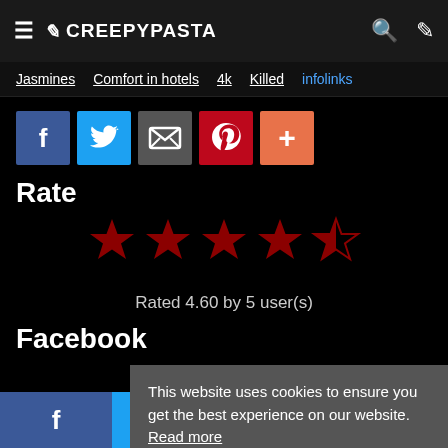≡ ✏ CREEPYPASTA 🔍 ✏
Jasmines  Comfort in hotels  4k  Killed  infolinks
[Figure (other): Social share buttons: Facebook (blue), Twitter (light blue), Email/share (gray), Pinterest (red), Plus (orange)]
Rate
[Figure (other): 4.5 out of 5 stars rating display in dark red]
Rated 4.60 by 5 user(s)
Facebook
This website uses cookies to ensure you get the best experience on our website. Read more
Got it!
Read more
f  🐦  ✉  +